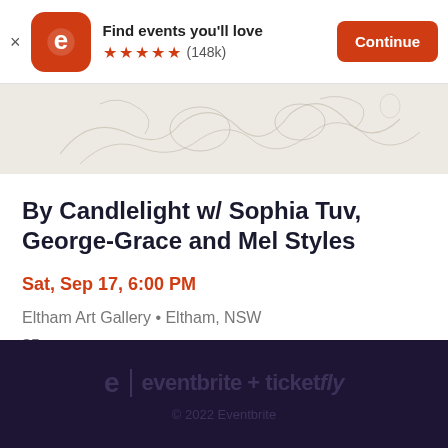[Figure (screenshot): Eventbrite app banner with logo, 'Find events you'll love', 5 star rating (148k reviews), and Continue button]
[Figure (illustration): Partial sketch/line-art illustration, light beige/cream background with pencil-like drawings]
By Candlelight w/ Sophia Tuv, George-Grace and Mel Styles
Sat, Sep 17, 6:00 PM
Eltham Art Gallery • Eltham, NSW
$5
eventbrite + ticketfly
© 2022 Eventbrite